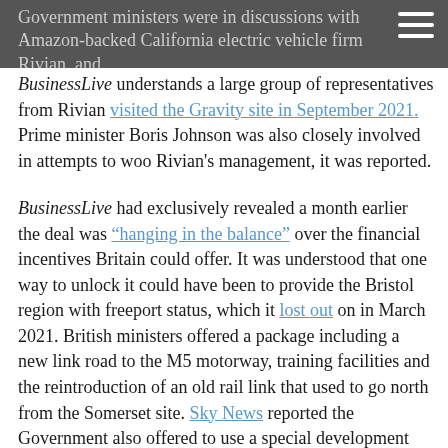Government ministers were in discussions with Amazon-backed California electric vehicle firm Rivian, and
BusinessLive understands a large group of representatives from Rivian visited the Gravity site in September 2021. Prime minister Boris Johnson was also closely involved in attempts to woo Rivian's management, it was reported.
BusinessLive had exclusively revealed a month earlier the deal was "hanging in the balance" over the financial incentives Britain could offer. It was understood that one way to unlock it could have been to provide the Bristol region with freeport status, which it lost out on in March 2021. British ministers offered a package including a new link road to the M5 motorway, training facilities and the reintroduction of an old rail link that used to go north from the Somerset site. Sky News reported the Government also offered to use a special development order (SDO), a